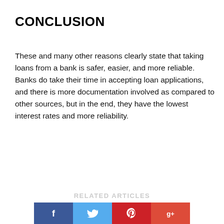CONCLUSION
These and many other reasons clearly state that taking loans from a bank is safer, easier, and more reliable. Banks do take their time in accepting loan applications, and there is more documentation involved as compared to other sources, but in the end, they have the lowest interest rates and more reliability.
[Figure (other): Social share buttons: Facebook (blue), Twitter (light blue), Pinterest (red), Google+ (orange-red). A grey scroll-to-top arrow button at right.]
RELATED ARTICLES
[Figure (other): Smaller social share buttons at bottom: Facebook, Twitter, Pinterest, Google+]